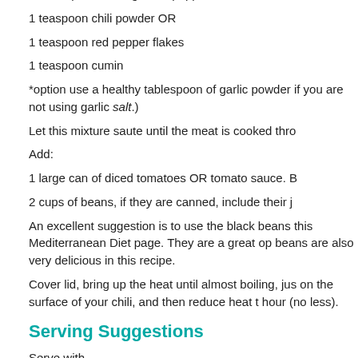1/2 teaspoon fresh ground pepper
1 teaspoon chili powder OR
1 teaspoon red pepper flakes
1 teaspoon cumin
*option use a healthy tablespoon of garlic powder if you are not using garlic salt.)
Let this mixture saute until the meat is cooked thro
Add:
1 large can of diced tomatoes OR tomato sauce. B
2 cups of beans, if they are canned, include their j
An excellent suggestion is to use the black beans this Mediterranean Diet page. They are a great op beans are also very delicious in this recipe.
Cover lid, bring up the heat until almost boiling, jus on the surface of your chili, and then reduce heat t hour (no less).
Serving Suggestions
Serve with